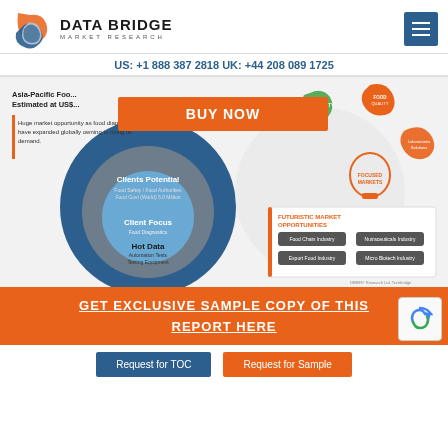DATA BRIDGE MARKET RESEARCH | US: +1 888 387 2818 UK: +44 208 089 1725
US: +1 888 387 2818 UK: +44 208 089 1725
[Figure (infographic): Asia-Pacific Food diagnostics market infographic with BUY NOW banner overlay, concentric circles showing Clients Potential, Client Focus, Hot Data, and futuristic market opportunities panel with Food Chain Industry, Nutraceuticals Industry, Export Food Industry, Micro Biotech Industry. Decorative hexagonal shapes with FOOD SAFETY TESTING and related labels, light bulb icon for FOCUSED MARKETS.]
GET EXCLUSIVE SAMPLE COPY OF THIS REPORT HERE
Request for TOC
Request for Sample